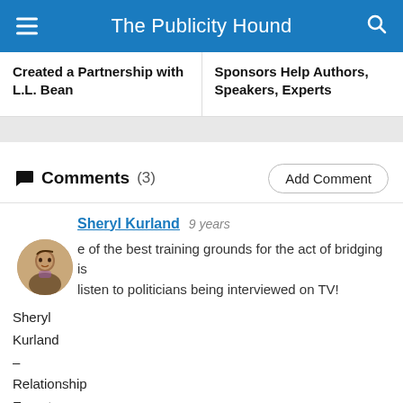The Publicity Hound
Created a Partnership with L.L. Bean
Sponsors Help Authors, Speakers, Experts
Comments (3)
Add Comment
Sheryl Kurland  9 years
e of the best training grounds for the act of bridging is listen to politicians being interviewed on TV! Sheryl Kurland – Relationship Expert, Speaker & Author,